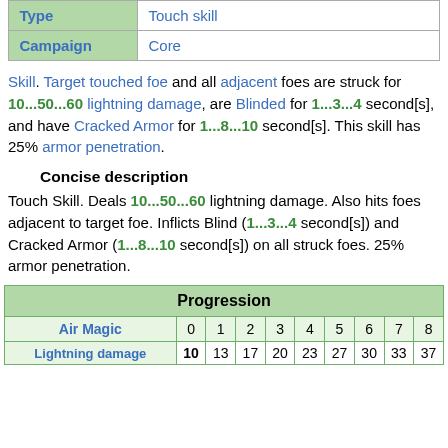| Type | Touch skill |
| --- | --- |
| Campaign | Core |
Skill. Target touched foe and all adjacent foes are struck for 10...50...60 lightning damage, are Blinded for 1...3...4 second[s], and have Cracked Armor for 1...8...10 second[s]. This skill has 25% armor penetration.
Concise description
Touch Skill. Deals 10...50...60 lightning damage. Also hits foes adjacent to target foe. Inflicts Blind (1...3...4 second[s]) and Cracked Armor (1...8...10 second[s]) on all struck foes. 25% armor penetration.
|  | Progression |
| --- | --- |
| Air Magic | 0 | 1 | 2 | 3 | 4 | 5 | 6 | 7 | 8 |
| Lightning damage | 10 | 13 | 17 | 20 | 23 | 27 | 30 | 33 | 37 |